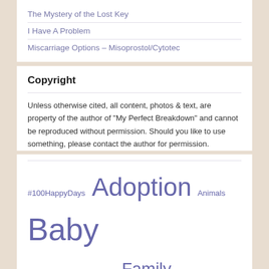The Mystery of the Lost Key
I Have A Problem
Miscarriage Options – Misoprostol/Cytotec
Copyright
Unless otherwise cited, all content, photos & text, are property of the author of "My Perfect Breakdown" and cannot be reproduced without permission. Should you like to use something, please contact the author for permission.
#100HappyDays Adoption Animals Baby Bad Day Blogging Death Family Food Friends fun health Humor Infertility Inspiration Introspection